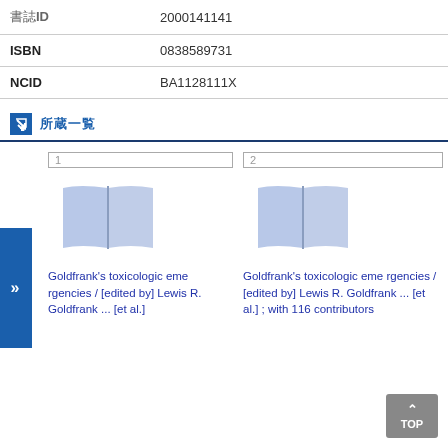| 書誌ID | 2000141141 |
| ISBN | 0838589731 |
| NCID | BA1128111X |
所蔵
[Figure (illustration): Book cover thumbnail placeholder, number 1]
Goldfrank's toxicologic emergencies / [edited by] Lewis R. Goldfrank ... [et al.]
[Figure (illustration): Book cover thumbnail placeholder, number 2]
Goldfrank's toxicologic emergencies / [edited by] Lewis R. Goldfrank ... [et al.] ; with 116 contributors